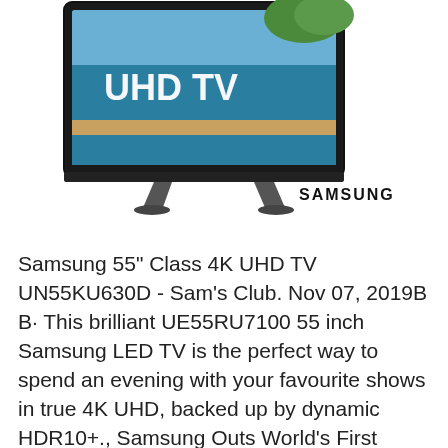[Figure (photo): Samsung curved UHD TV with 'UHD TV' text on screen, beach/ocean scene displayed, Samsung logo text to the right below the TV]
Samsung 55" Class 4K UHD TV UN55KU630D - Sam's Club. Nov 07, 2019B B· This brilliant UE55RU7100 55 inch Samsung LED TV is the perfect way to spend an evening with your favourite shows in true 4K UHD, backed up by dynamic HDR10+., Samsung Outs World's First Curved Ultra HD LED TV.